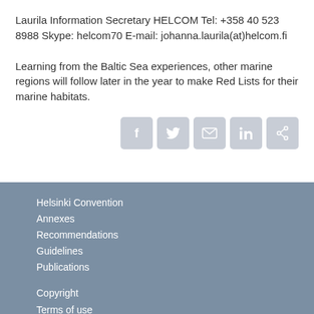Laurila Information Secretary HELCOM Tel: +358 40 523 8988 Skype: helcom70 E-mail: johanna.laurila(at)helcom.fi
Learning from the Baltic Sea experiences, other marine regions will follow later in the year to make Red Lists for their marine habitats.
[Figure (infographic): Row of five social media icon buttons (Facebook, Twitter, Email, LinkedIn, Link/share) in grey rounded squares, aligned to the right side of the page.]
Helsinki Convention
Annexes
Recommendations
Guidelines
Publications

Copyright
Terms of use